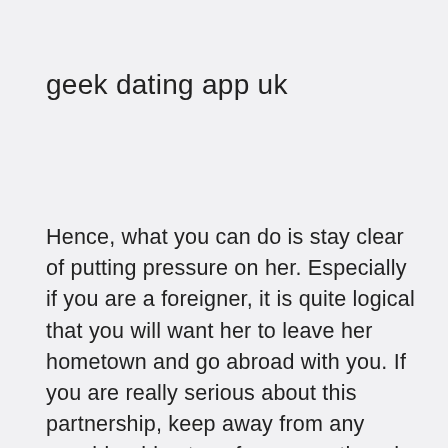geek dating app uk
Hence, what you can do is stay clear of putting pressure on her. Especially if you are a foreigner, it is quite logical that you will want her to leave her hometown and go abroad with you. If you are really serious about this partnership, keep away from any considerable steps for a even though. Your British girlfriend will under no circumstances disclose her adore to you unless she is a hundred particular in her